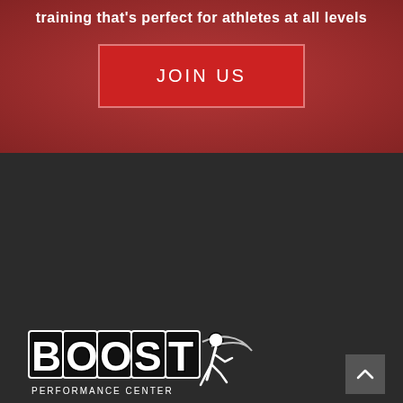training that's perfect for athletes at all levels
JOIN US
[Figure (logo): Boost Performance Center logo — stylized white bold lettering with running figure graphic]
OUR LOCATION
500 Harrington St. Unit C1 Corona, CA 92880
Phone: (951)-532-4904
Web: Contact Us